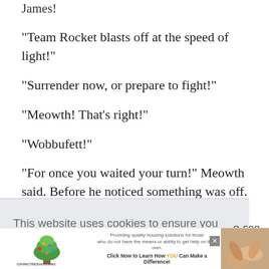James!
"Team Rocket blasts off at the speed of light!"
"Surrender now, or prepare to fight!"
"Meowth! That's right!"
"Wobbufett!"
"For once you waited your turn!" Meowth said. Before he noticed something was off. "Wait a minute, doesn't it
This website uses cookies to ensure you get the best experience on our website.
Learn more
Got it!
o see
saw
Close ×
[Figure (advertisement): GivingTreeHousing advertisement banner with tree logo and text about providing quality housing solutions]